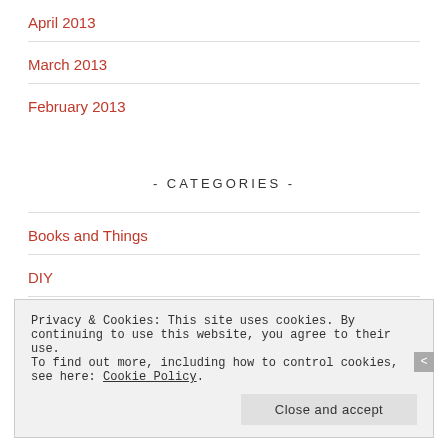April 2013
March 2013
February 2013
- CATEGORIES -
Books and Things
DIY
Privacy & Cookies: This site uses cookies. By continuing to use this website, you agree to their use.
To find out more, including how to control cookies, see here: Cookie Policy
Close and accept